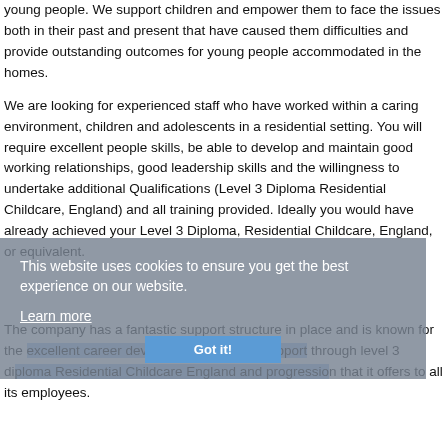young people. We support children and empower them to face the issues both in their past and present that have caused them difficulties and provide outstanding outcomes for young people accommodated in the homes.
We are looking for experienced staff who have worked within a caring environment, children and adolescents in a residential setting. You will require excellent people skills, be able to develop and maintain good working relationships, good leadership skills and the willingness to undertake additional Qualifications (Level 3 Diploma Residential Childcare, England) and all training provided. Ideally you would have already achieved your Level 3 Diploma, Residential Childcare, England, or equivalent.
This website uses cookies to ensure you get the best experience on our website.
Learn more
Got it!
The company has a fantastic support structure in place and is known for the excellent career development, training, support through level 3 diploma Residential Childcare England and progression that it offers to all its employees.